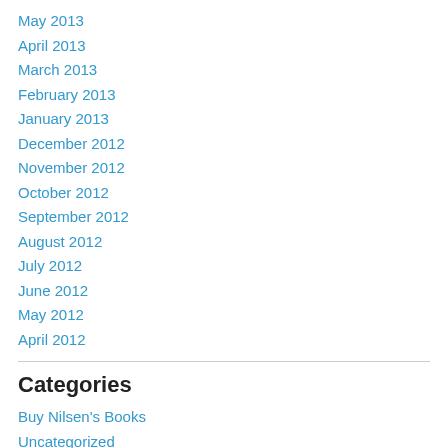May 2013
April 2013
March 2013
February 2013
January 2013
December 2012
November 2012
October 2012
September 2012
August 2012
July 2012
June 2012
May 2012
April 2012
Categories
Buy Nilsen's Books
Uncategorized